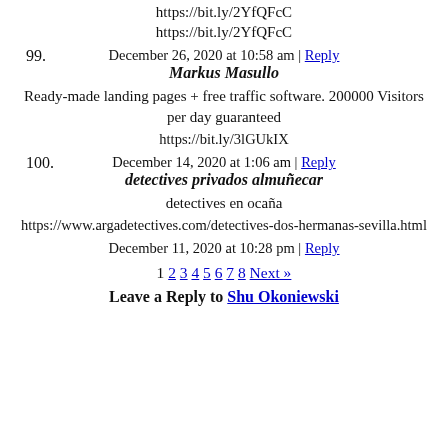https://bit.ly/2YfQFcC
https://bit.ly/2YfQFcC
99. December 26, 2020 at 10:58 am | Reply
Markus Masullo
Ready-made landing pages + free traffic software. 200000 Visitors per day guaranteed
https://bit.ly/3lGUkIX
100. December 14, 2020 at 1:06 am | Reply
detectives privados almuñecar
detectives en ocaña
https://www.argadetectives.com/detectives-dos-hermanas-sevilla.html
December 11, 2020 at 10:28 pm | Reply
1 2 3 4 5 6 7 8 Next »
Leave a Reply to Shu Okoniewski